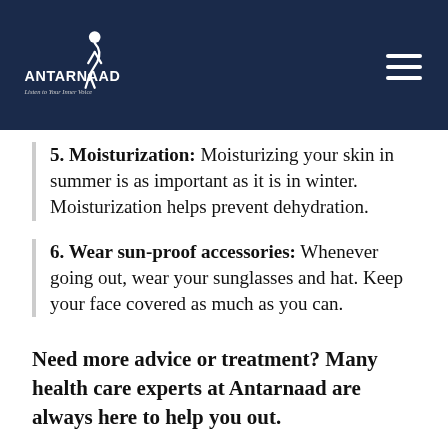ANTARNAAD — Listen to Your Inner Voice
5. Moisturization: Moisturizing your skin in summer is as important as it is in winter. Moisturization helps prevent dehydration.
6. Wear sun-proof accessories: Whenever going out, wear your sunglasses and hat. Keep your face covered as much as you can.
Need more advice or treatment? Many health care experts at Antarnaad are always here to help you out.